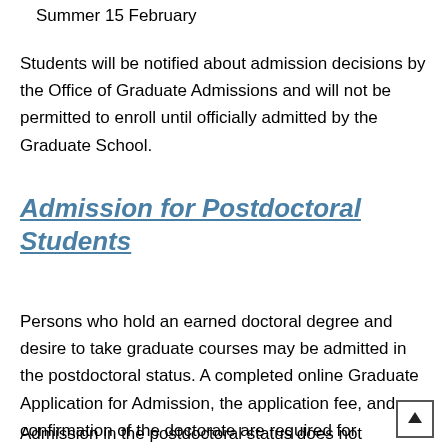Summer 15 February
Students will be notified about admission decisions by the Office of Graduate Admissions and will not be permitted to enroll until officially admitted by the Graduate School.
Admission for Postdoctoral Students
Persons who hold an earned doctoral degree and desire to take graduate courses may be admitted in the postdoctoral status. A completed online Graduate Application for Admission, the application fee, and confirmation of the doctorate are required for admission.
Admission in the postdoctoral status does not constitute